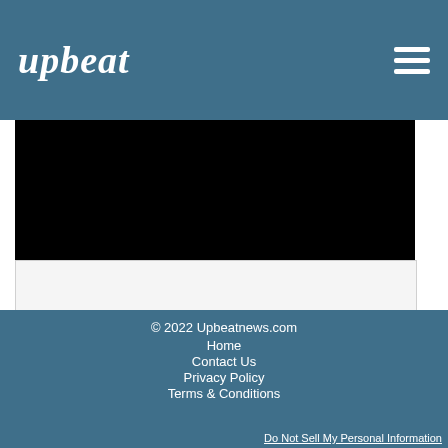upbeat
[Figure (photo): Black rectangular image placeholder at the top of the content area]
[Figure (other): Light gray empty content block below the black image]
© 2022 Upbeatnews.com
Home
Contact Us
Privacy Policy
Terms & Conditions
Do Not Sell My Personal Information